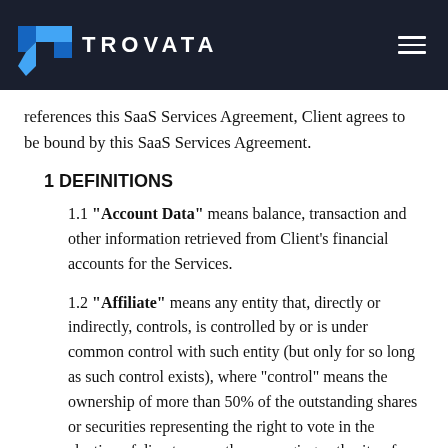TROVATA
references this SaaS Services Agreement, Client agrees to be bound by this SaaS Services Agreement.
1 DEFINITIONS
1.1 "Account Data" means balance, transaction and other information retrieved from Client's financial accounts for the Services.
1.2 "Affiliate" means any entity that, directly or indirectly, controls, is controlled by or is under common control with such entity (but only for so long as such control exists), where "control" means the ownership of more than 50% of the outstanding shares or securities representing the right to vote in the election of directors or other managing authority of such entity.